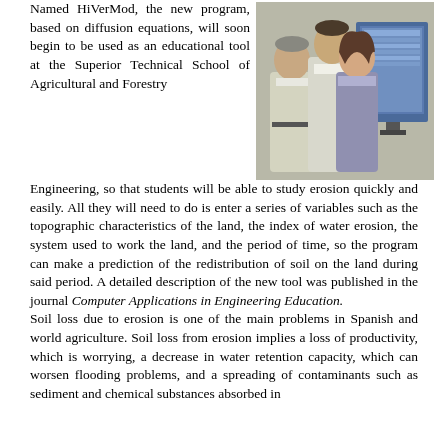Named HiVerMod, the new program, based on diffusion equations, will soon begin to be used as an educational tool at the Superior Technical School of Agricultural and Forestry Engineering, so that students will be able to study erosion quickly and easily. All they will need to do is enter a series of variables such as the topographic characteristics of the land, the index of water erosion, the system used to work the land, and the period of time, so the program can make a prediction of the redistribution of soil on the land during said period. A detailed description of the new tool was published in the journal Computer Applications in Engineering Education.
[Figure (photo): Three people (two men and one woman) standing together in front of a computer monitor displaying what appears to be the HiVerMod software interface.]
Soil loss due to erosion is one of the main problems in Spanish and world agriculture. Soil loss from erosion implies a loss of productivity, which is worrying, a decrease in water retention capacity, which can worsen flooding problems, and a spreading of contaminants such as sediment and chemical substances absorbed in